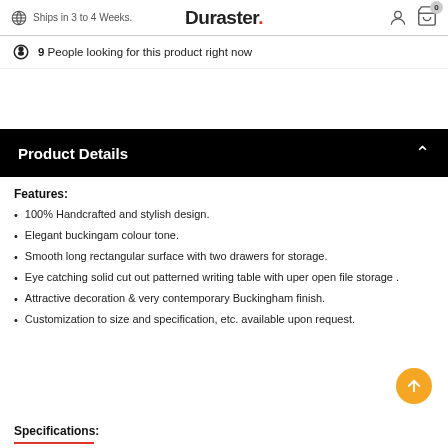Ships in 3 to 4 Weeks. Duraster.
9 People looking for this product right now
Product Details
Features:
100% Handcrafted and stylish design.
Elegant buckingam colour tone.
Smooth long rectangular surface with two drawers for storage.
Eye catching solid cut out patterned writing table with uper open file storage .
Attractive decoration & very contemporary Buckingham finish.
Customization to size and specification, etc. available upon request.
Specifications: